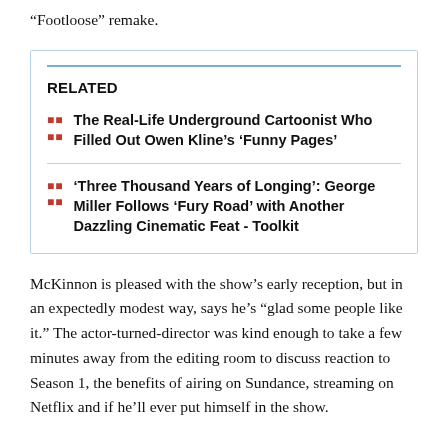“Footloose” remake.
RELATED
The Real-Life Underground Cartoonist Who Filled Out Owen Kline’s ‘Funny Pages’
‘Three Thousand Years of Longing’: George Miller Follows ‘Fury Road’ with Another Dazzling Cinematic Feat - Toolkit
McKinnon is pleased with the show’s early reception, but in an expectedly modest way, says he’s “glad some people like it.” The actor-turned-director was kind enough to take a few minutes away from the editing room to discuss reaction to Season 1, the benefits of airing on Sundance, streaming on Netflix and if he’ll ever put himself in the show.